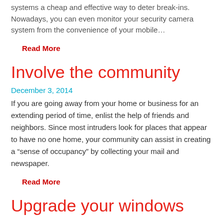systems a cheap and effective way to deter break-ins. Nowadays, you can even monitor your security camera system from the convenience of your mobile…
Read More
Involve the community
December 3, 2014
If you are going away from your home or business for an extending period of time, enlist the help of friends and neighbors. Since most intruders look for places that appear to have no one home, your community can assist in creating a “sense of occupancy” by collecting your mail and newspaper.
Read More
Upgrade your windows